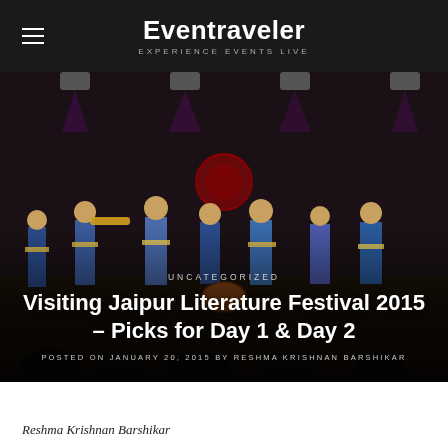Eventraveler — EXPERIENCE EVENTS LIVE
[Figure (photo): Concert/festival stage scene with performers in colorful traditional Rajasthani attire, stage lights overhead in a dark venue]
UNCATEGORIZED
Visiting Jaipur Literature Festival 2015 – Picks for Day 1 & Day 2
POSTED ON JANUARY 20, 2015 BY RESHMA KRISHNAN BARSHIKAR
Reshma Krishnan Barshikar